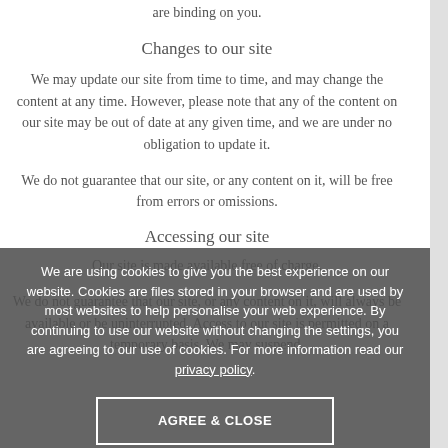are binding on you.
Changes to our site
We may update our site from time to time, and may change the content at any time. However, please note that any of the content on our site may be out of date at any given time, and we are under no obligation to update it.
We do not guarantee that our site, or any content on it, will be free from errors or omissions.
Accessing our site
Our site is made available free of charge.
We do not guarantee that our site, or any content on it, will always be available or be uninterrupted. Access to our site is permitted on a temporary basis. We may suspend,
We are using cookies to give you the best experience on our website. Cookies are files stored in your browser and are used by most websites to help personalise your web experience. By continuing to use our website without changing the settings, you are agreeing to our use of cookies. For more information read our privacy policy.